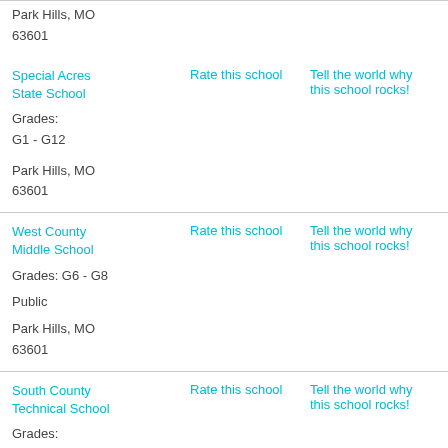Park Hills, MO
63601
| School | Action | Community |
| --- | --- | --- |
| Special Acres State School
Grades:
G1 - G12
Park Hills, MO
63601 | Rate this school | Tell the world why this school rocks! |
| West County Middle School
Grades: G6 - G8
Public
Park Hills, MO
63601 | Rate this school | Tell the world why this school rocks! |
| South County Technical School
Grades: | Rate this school | Tell the world why this school rocks! |